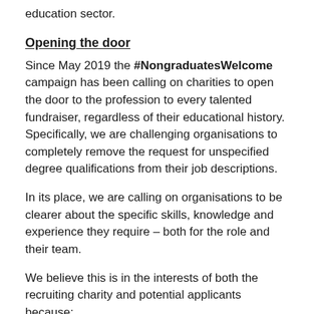education sector.
Opening the door
Since May 2019 the #NongraduatesWelcome campaign has been calling on charities to open the door to the profession to every talented fundraiser, regardless of their educational history. Specifically, we are challenging organisations to completely remove the request for unspecified degree qualifications from their job descriptions.
In its place, we are calling on organisations to be clearer about the specific skills, knowledge and experience they require – both for the role and their team.
We believe this is in the interests of both the recruiting charity and potential applicants because: